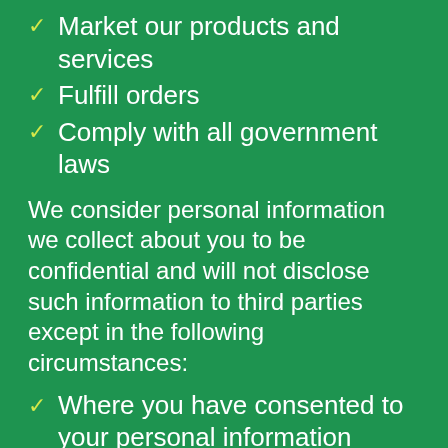Market our products and services
Fulfill orders
Comply with all government laws
We consider personal information we collect about you to be confidential and will not disclose such information to third parties except in the following circumstances:
Where you have consented to your personal information being provided to a third party
When we are required to disclose the information by government laws